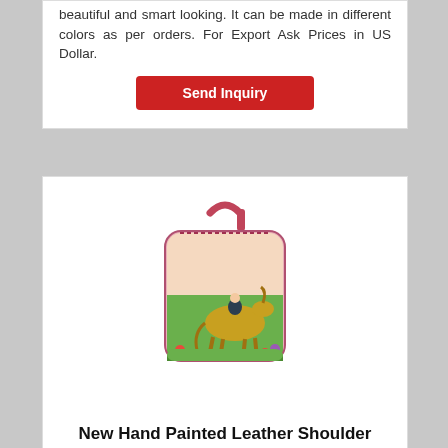beautiful and smart looking. It can be made in different colors as per orders. For Export Ask Prices in US Dollar.
Send Inquiry
[Figure (photo): A hand painted leather shoulder bag with a horse and rider design on a pink/green background]
New Hand Painted Leather Shoulder Bag Horse Design
Women Hand Painted Shoulder Bag with zipper closure. Material: Genuine Cow Milled Leather Dimension : 31 x 29 x 12 cm Shoulder Drop Length: 29 cm A Hand-painted Handbag with a back zipper pocket. Interior contains a zipper pocket and a mobile pocket. It can be made in different colors as per orders. For Export Ask Prices in US Dollar.
Send Inquiry